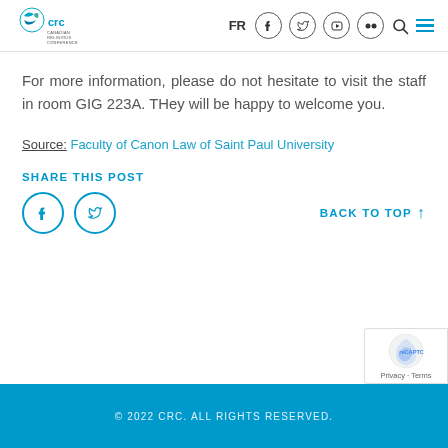CRC Canadian Religious Conference — FR | Facebook | Twitter | YouTube | Flickr | Search | Menu
For more information, please do not hesitate to visit the staff in room GIG 223A. THey will be happy to welcome you.
Source: Faculty of Canon Law of Saint Paul University
SHARE THIS POST
BACK TO TOP ↑
© 2022 CRC. ALL RIGHTS RESERVED.